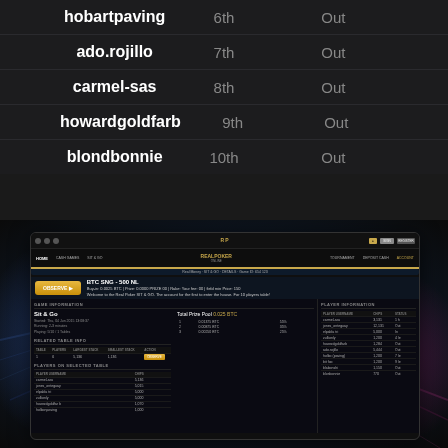| Player | Place | Status |
| --- | --- | --- |
| hobartpaving | 6th | Out |
| ado.rojillo | 7th | Out |
| carmel-sas | 8th | Out |
| howardgoldfarb | 9th | Out |
| blondbonnie | 10th | Out |
[Figure (screenshot): Screenshot of Real Poker online poker platform showing a BTC SNG - 500 NL tournament lobby with Sit & Go game information, prize pool of 0.025 BTC, related table info, and player information panel.]